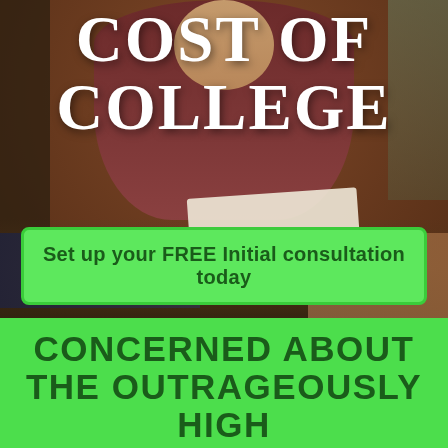[Figure (photo): Background photo of two people in a consultation meeting, reviewing documents. A person in a dark maroon/burgundy top sits across from someone in a dark blazer. Hands holding white paper/documents are visible in the lower portion.]
COST OF COLLEGE
Set up your FREE Initial consultation today
CONCERNED ABOUT THE OUTRAGEOUSLY HIGH